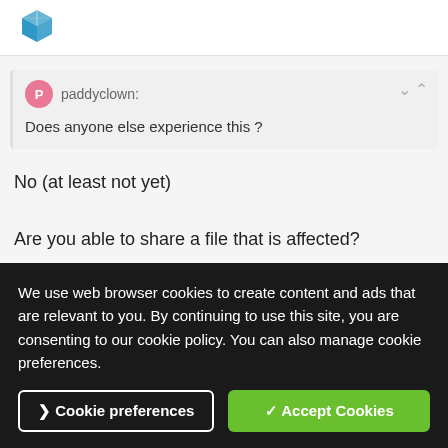[Figure (logo): SketchUp logo - blue 3D cube icon]
paddyclown:
Does anyone else experience this ?
No (at least not yet)
Are you able to share a file that is affected?
We use web browser cookies to create content and ads that are relevant to you. By continuing to use this site, you are consenting to our cookie policy. You can also manage cookie preferences.